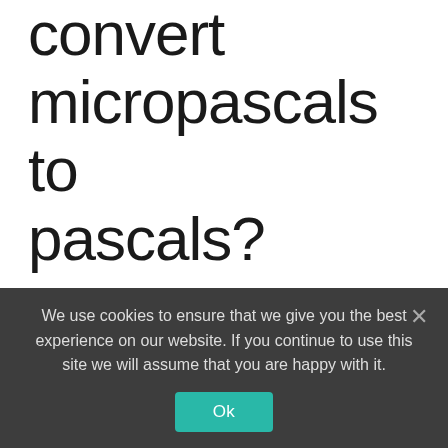convert micropascals to pascals?
How to convert micropascal to pascal. 1 micropascal = 1.0E-6 pascal. 1 pascal = 1000000 micropascal. Example: convert 49 μPa to Pa: 49 μPa = 49000000 Pa
How do you convert pascals to mmHg?
We use cookies to ensure that we give you the best experience on our website. If you continue to use this site we will assume that you are happy with it.